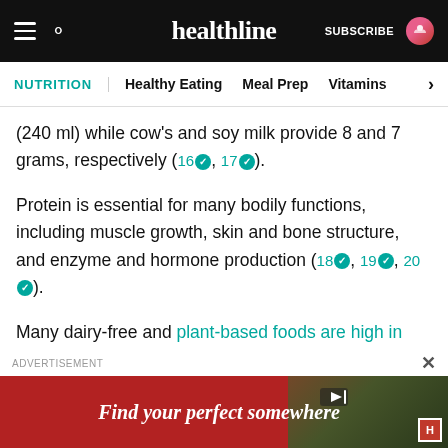healthline — SUBSCRIBE
NUTRITION | Healthy Eating  Meal Prep  Vitamins >
(240 ml) while cow's and soy milk provide 8 and 7 grams, respectively (16, 17).
Protein is essential for many bodily functions, including muscle growth, skin and bone structure, and enzyme and hormone production (18, 19, 20).
Many dairy-free and plant-based foods are high in protein, including beans, lentils, nuts, seeds, tofu, tempeh, and hemp seeds.